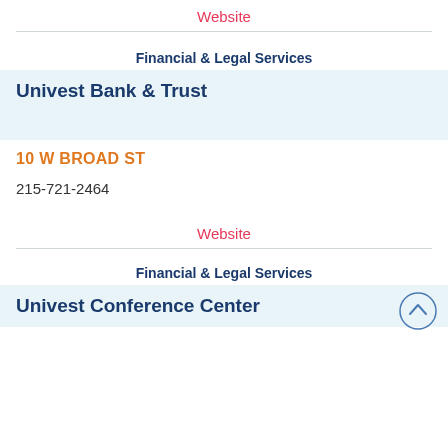Website
Financial & Legal Services
Univest Bank & Trust
10 W BROAD ST
215-721-2464
Website
Financial & Legal Services
Univest Conference Center